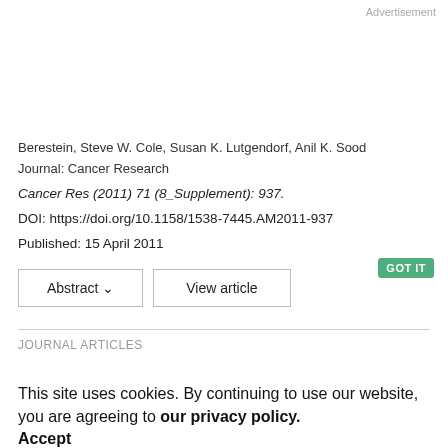Advertisement
Berestein, Steve W. Cole, Susan K. Lutgendorf, Anil K. Sood
Journal: Cancer Research
Cancer Res (2011) 71 (8_Supplement): 937.
DOI: https://doi.org/10.1158/1538-7445.AM2011-937
Published: 15 April 2011
Abstract ∨
View article
JOURNAL ARTICLES
This site uses cookies. By continuing to use our website, you are agreeing to our privacy policy. Accept
low-grade ovarian serous carcinomas